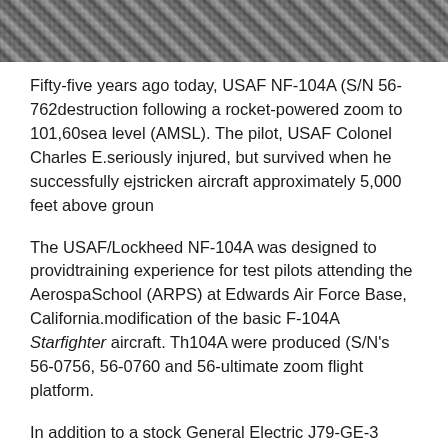[Figure (photo): Black and white photograph strip showing a terrain or landscape, cropped at the top of the page.]
Fifty-five years ago today, USAF NF-104A (S/N 56-762...) met its destruction following a rocket-powered zoom to 101,60... feet above sea level (AMSL). The pilot, USAF Colonel Charles E. ... seriously injured, but survived when he successfully ej... stricken aircraft approximately 5,000 feet above groun...
The USAF/Lockheed NF-104A was designed to provid... training experience for test pilots attending the Aerospa... School (ARPS) at Edwards Air Force Base, California. ... modification of the basic F-104A Starfighter aircraft. Th... 104A were produced (S/N's 56-0756, 56-0760 and 56-... ultimate zoom flight platform.
In addition to a stock General Electric J79-GE-3 turboje... powered by a Rocketdyne LR121-NA-1 rocket motor. T...